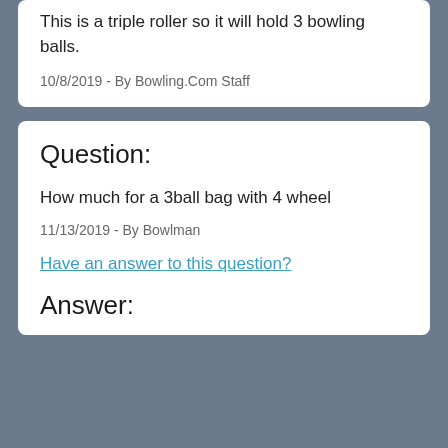This is a triple roller so it will hold 3 bowling balls.
10/8/2019 - By Bowling.Com Staff
Question:
How much for a 3ball bag with 4 wheel
11/13/2019 - By Bowlman
Have an answer to this question?
Answer: